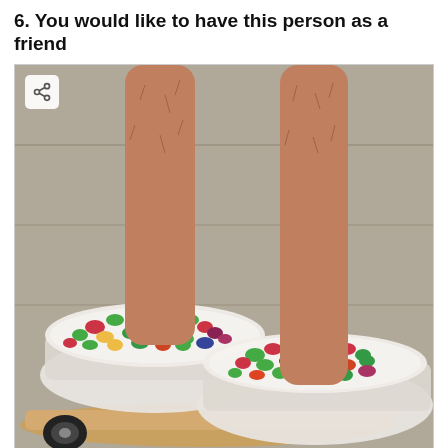6. You would like to have this person as a friend
[Figure (photo): A person standing with each foot in a large plastic bowl filled with colorful cereal (resembling Trix or Froot Loops) and milk, placed on a skateboard on a concrete surface.]